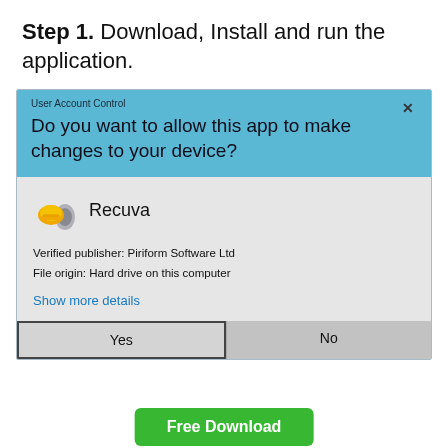Step 1. Download, Install and run the application.
[Figure (screenshot): Windows User Account Control dialog for Recuva application showing 'Do you want to allow this app to make changes to your device?' with Recuva icon, publisher info 'Verified publisher: Piriform Software Ltd', 'File origin: Hard drive on this computer', 'Show more details' link, and Yes/No buttons.]
Free Download